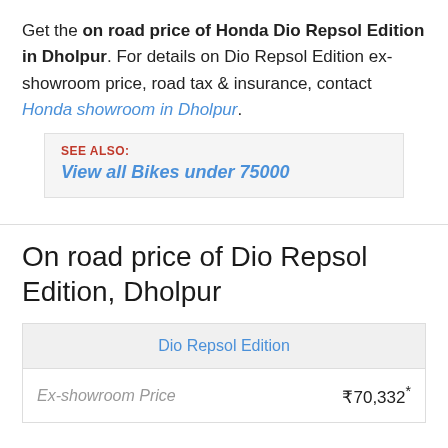Get the on road price of Honda Dio Repsol Edition in Dholpur. For details on Dio Repsol Edition ex-showroom price, road tax & insurance, contact Honda showroom in Dholpur.
SEE ALSO: View all Bikes under 75000
On road price of Dio Repsol Edition, Dholpur
| Dio Repsol Edition |
| --- |
| Ex-showroom Price | ₹70,332* |